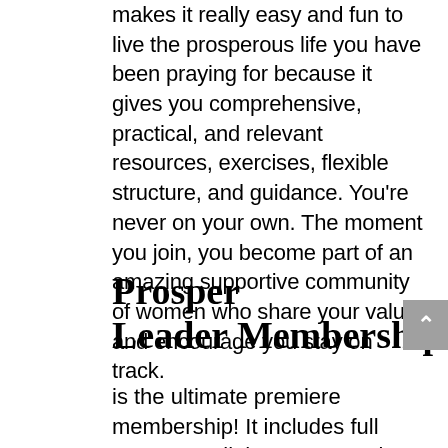makes it really easy and fun to live the prosperous life you have been praying for because it gives you comprehensive, practical, and relevant resources, exercises, flexible structure, and guidance. You're never on your own. The moment you join, you become part of an amazing supportive community of women who share your values and encourage you stay on track.
Prosper Leader Membership
is the ultimate premiere membership! It includes full access to all the resources in the site including masterclasses, interviews,